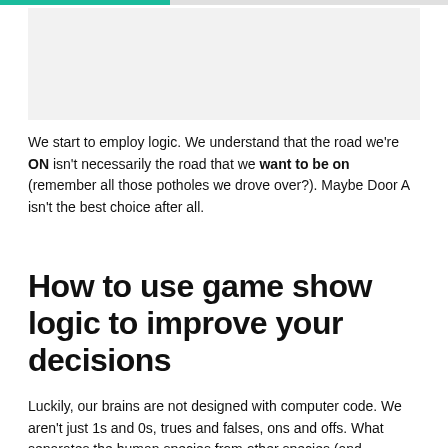[Figure (other): Light grey rectangular image placeholder area at the top of the page]
We start to employ logic. We understand that the road we're ON isn't necessarily the road that we want to be on (remember all those potholes we drove over?). Maybe Door A isn't the best choice after all.
How to use game show logic to improve your decisions
Luckily, our brains are not designed with computer code. We aren't just 1s and 0s, trues and falses, ons and offs. What separates the human species from other species (and